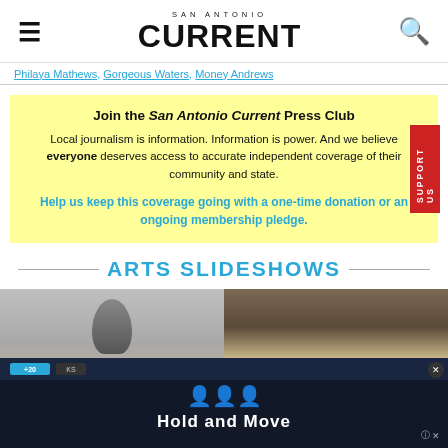SAN ANTONIO CURRENT
Philaya Mathews, Gorgeous Waters, Money Andrews
Join the San Antonio Current Press Club

Local journalism is information. Information is power. And we believe everyone deserves access to accurate independent coverage of their community and state.

Help us keep this coverage going with a one-time donation or an ongoing membership pledge.
ARTS SLIDESHOWS
[Figure (photo): Two thumbnail photos for Arts Slideshows section — left shows a person, right shows a landscape/nature scene]
[Figure (screenshot): Ad overlay at bottom showing 'Hold and Move' with cyan icon figures on dark background, with close button]